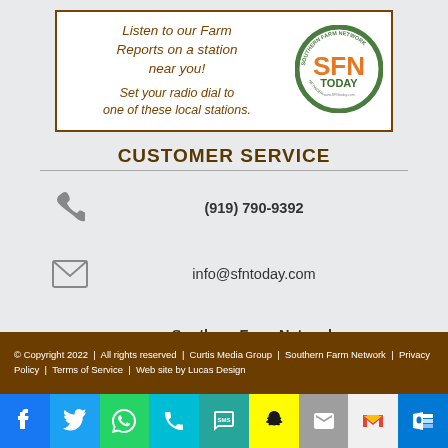[Figure (logo): SFN Today Southern Farm Network banner with text 'Listen to our Farm Reports on a station near you! Set your radio dial to one of these local stations.' and circular SFN Today logo]
CUSTOMER SERVICE
(919) 790-9392
info@sfntoday.com
Southern Farm Network
3012 Highwoods Blvd., Suite 200
Raleigh, NC 27604
© Copyright 2022  |  All rights reserved  |  Curtis Media Group  |  Southern Farm Network  |  Privacy Policy  |  Terms of Service  |  Web site by Lucas Design
[Figure (infographic): Social media icon bar: Facebook (blue), Twitter (blue), WhatsApp (green), Phone (teal), SMS (teal), Snapchat (yellow), Mail (grey), Gmail (white/red), Outlook (blue)]